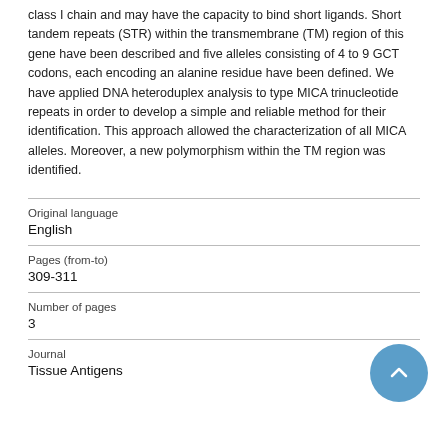class I chain and may have the capacity to bind short ligands. Short tandem repeats (STR) within the transmembrane (TM) region of this gene have been described and five alleles consisting of 4 to 9 GCT codons, each encoding an alanine residue have been defined. We have applied DNA heteroduplex analysis to type MICA trinucleotide repeats in order to develop a simple and reliable method for their identification. This approach allowed the characterization of all MICA alleles. Moreover, a new polymorphism within the TM region was identified.
| Field | Value |
| --- | --- |
| Original language | English |
| Pages (from-to) | 309-311 |
| Number of pages | 3 |
| Journal | Tissue Antigens |